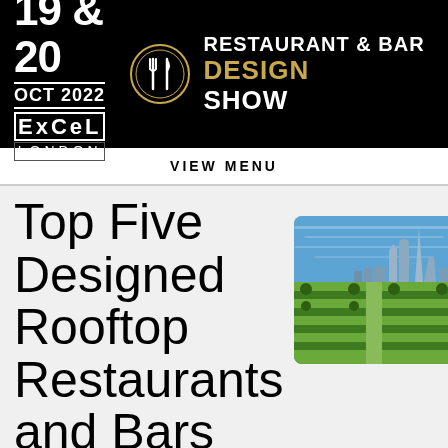[Figure (logo): Restaurant & Bar Design Show banner with date 19 & 20 OCT 2022, ExCeL London and circular logo with fork and knife icon]
VIEW MENU
Top Five Designed Rooftop Restaurants and Bars
[Figure (photo): Aerial rooftop garden view with London skyline including The Shard and other skyscrapers in the background, green hedged garden in foreground]
An incredible view can hold the power to make